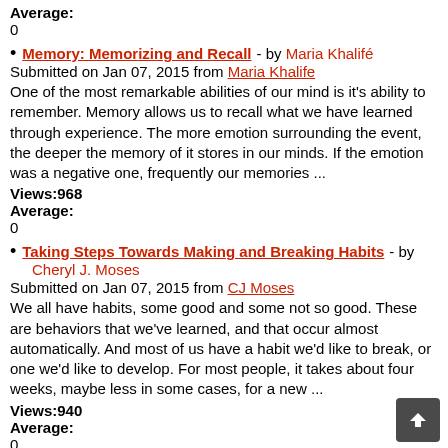Average:
0
Memory: Memorizing and Recall - by Maria Khalifé
Submitted on Jan 07, 2015 from Maria Khalife
One of the most remarkable abilities of our mind is it's ability to remember. Memory allows us to recall what we have learned through experience. The more emotion surrounding the event, the deeper the memory of it stores in our minds. If the emotion was a negative one, frequently our memories ...
Views:968
Average:
0
Taking Steps Towards Making and Breaking Habits - by Cheryl J. Moses
Submitted on Jan 07, 2015 from CJ Moses
We all have habits, some good and some not so good. These are behaviors that we've learned, and that occur almost automatically. And most of us have a habit we'd like to break, or one we'd like to develop. For most people, it takes about four weeks, maybe less in some cases, for a new ...
Views:940
Average:
0
Why Abandon A Habit? - by Rossen Zotkov
Submitted on Dec 30, 2014 from Rossen Zotkov
While considerations on theory and practice of "How to abandon a habit?" are quite common for many people, the question of "Why should I abandon a habit?" in the first place, is often not given its ...